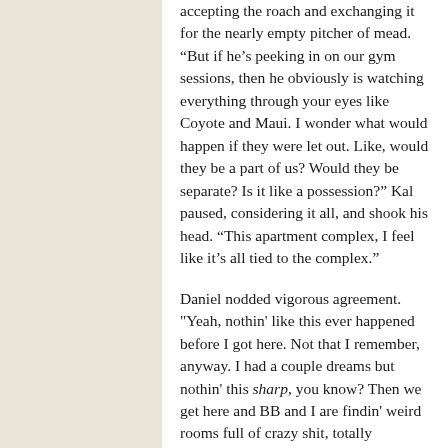accepting the roach and exchanging it for the nearly empty pitcher of mead. “But if he’s peeking in on our gym sessions, then he obviously is watching everything through your eyes like Coyote and Maui. I wonder what would happen if they were let out. Like, would they be a part of us? Would they be separate? Is it like a possession?” Kal paused, considering it all, and shook his head. “This apartment complex, I feel like it’s all tied to the complex.”
Daniel nodded vigorous agreement. "Yeah, nothin' like this ever happened before I got here. Not that I remember, anyway. I had a couple dreams but nothin' this sharp, you know? Then we get here and BB and I are findin' weird rooms full of crazy shit, totally inappropriate gifts, the